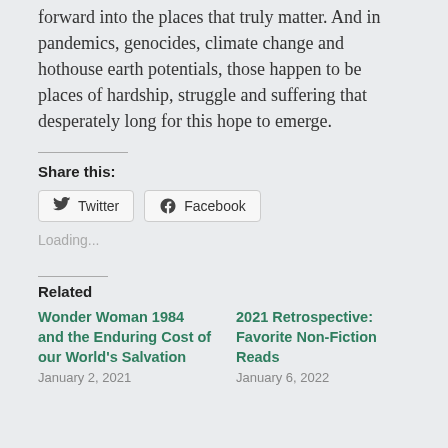forward into the places that truly matter. And in pandemics, genocides, climate change and hothouse earth potentials, those happen to be places of hardship, struggle and suffering that desperately long for this hope to emerge.
Share this:
Twitter  Facebook
Loading...
Related
Wonder Woman 1984 and the Enduring Cost of our World's Salvation
January 2, 2021
2021 Retrospective: Favorite Non-Fiction Reads
January 6, 2022